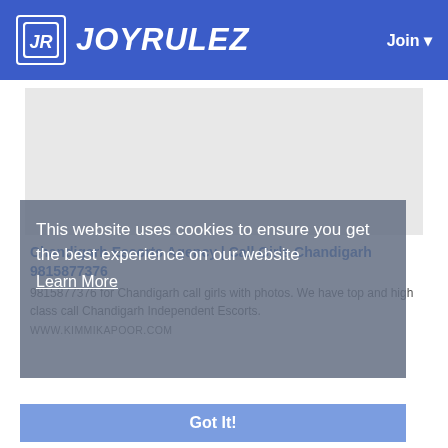JOYRULEZ — Join
[Figure (other): Light gray advertisement placeholder rectangle]
This website uses cookies to ensure you get the best experience on our website
Learn More
Chandigarh Escorts Agency | Call Girls Chandigarh 9815877376
9815877376 for Chandigarh call girls with photos. We have top and high class call Chandigarh Independent Escorts.
WWW.KIMMIKAPOOR.COM
Got It!